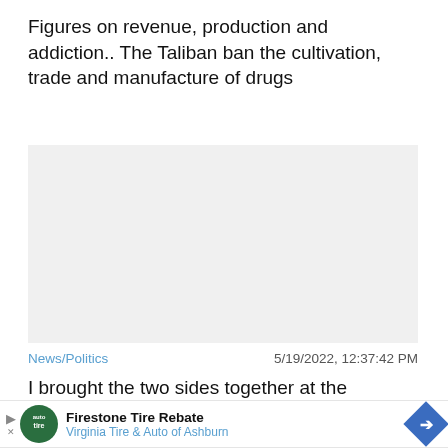Figures on revenue, production and addiction.. The Taliban ban the cultivation, trade and manufacture of drugs
[Figure (other): Light gray rectangular placeholder image area]
News/Politics    5/19/2022, 12:37:42 PM
I brought the two sides together at the negotiating table.. Will the Kabul government succeed in ending the te
Close X
Firestone Tire Rebate  Virginia Tire & Auto of Ashburn